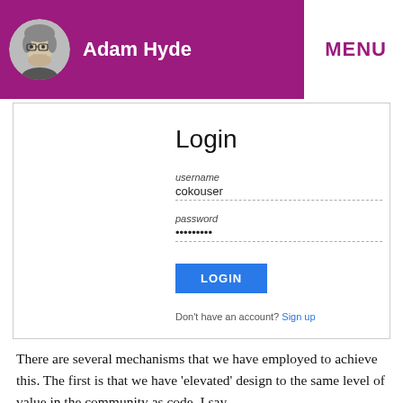Adam Hyde | MENU
[Figure (screenshot): Login form screenshot showing username field with 'cokouser', password field with dots, a blue LOGIN button, and a 'Don't have an account? Sign up' link.]
There are several mechanisms that we have employed to achieve this. The first is that we have ‘elevated’ design to the same level of value in the community as code. I say